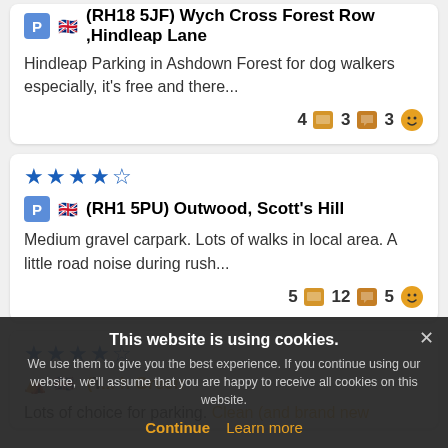(RH18 5JF) Wych Cross Forest Row, Hindleap Lane — Hindleap Parking in Ashdown Forest for dog walkers especially, it's free and there... — 4 photos, 3 comments, 3 ratings
(RH1 5PU) Outwood, Scott's Hill — Medium gravel carpark. Lots of walks in local area. A little road noise during rush... — 5 photos, 12 comments, 5 ratings
(partial) ... h Green — Lots of choice for parking. Clean (and brand new where we were) toilets and sh...
This website is using cookies. We use them to give you the best experience. If you continue using our website, we'll assume that you are happy to receive all cookies on this website.
Continue | Learn more